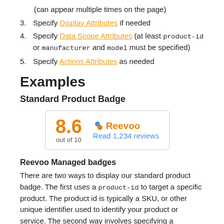(can appear multiple times on the page)
3. Specify Display Attributes if needed
4. Specify Data Scope Attributes (at least product-id or manufacturer and model must be specified)
5. Specify Actions Attributes as needed
Examples
Standard Product Badge
[Figure (other): Reevoo product badge widget showing score 8.6 out of 10 and a link to Read 1,234 reviews]
Reevoo Managed badges
There are two ways to display our standard product badge. The first uses a product-id to target a specific product. The product id is typically a SKU, or other unique identifier used to identify your product or service. The second way involves specifying a combination of